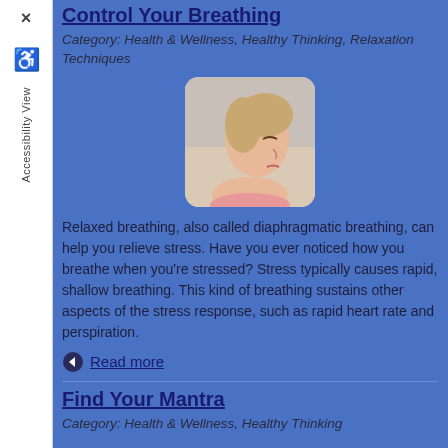Control Your Breathing
Category: Health & Wellness, Healthy Thinking, Relaxation Techniques
[Figure (photo): Woman in profile view with eyes closed, appearing relaxed]
Relaxed breathing, also called diaphragmatic breathing, can help you relieve stress. Have you ever noticed how you breathe when you're stressed? Stress typically causes rapid, shallow breathing. This kind of breathing sustains other aspects of the stress response, such as rapid heart rate and perspiration.
Read more
Find Your Mantra
Category: Health & Wellness, Healthy Thinking